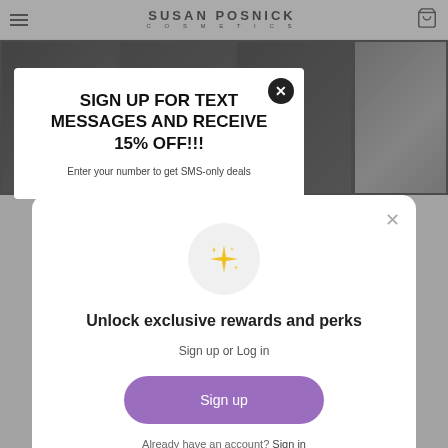SUSAN POSNICK COSMETICS
[Figure (screenshot): Background product images (eye pencils/makeup) in dark overlay, partially visible behind modals]
SIGN UP FOR TEXT MESSAGES AND RECEIVE 15% OFF!!!
Enter your number to get SMS-only deals
[Figure (illustration): Sparkle/star emoji icon in a light gray circle]
Unlock exclusive rewards and perks
Sign up or Log in
Sign up
Already have an account? Sign in